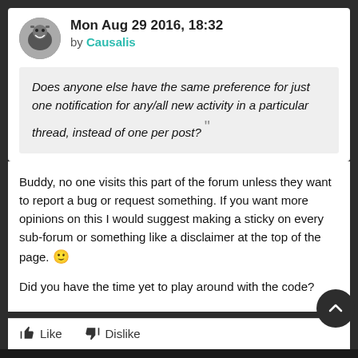Mon Aug 29 2016, 18:32
by Causalis
Does anyone else have the same preference for just one notification for any/all new activity in a particular thread, instead of one per post?
Buddy, no one visits this part of the forum unless they want to report a bug or request something. If you want more opinions on this I would suggest making a sticky on every sub-forum or something like a disclaimer at the top of the page. 🙂
Did you have the time yet to play around with the code?
Like
Dislike
Home
Last
Log in